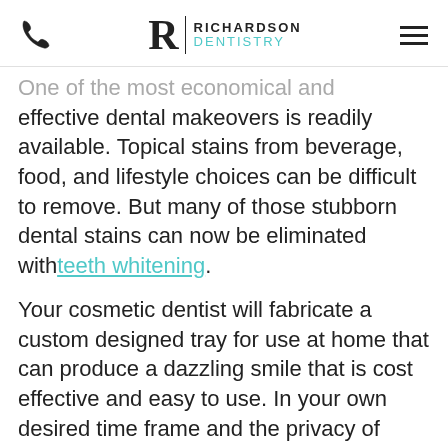Richardson Dentistry
One of the most economical and effective dental makeovers is readily available. Topical stains from beverage, food, and lifestyle choices can be difficult to remove. But many of those stubborn dental stains can now be eliminated with teeth whitening.
Your cosmetic dentist will fabricate a custom designed tray for use at home that can produce a dazzling smile that is cost effective and easy to use. In your own desired time frame and the privacy of home you can eliminate: